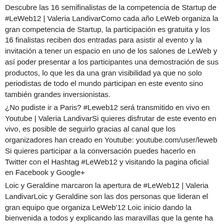Descubre las 16 semifinalistas de la competencia de Startup de #LeWeb12 | Valeria LandivarComo cada año LeWeb organiza la gran competencia de Startup, la participación es gratuita y los 16 finalistas reciben dos entradas para asistir al evento y la invitación a tener un espacio en uno de los salones de LeWeb y así poder presentar a los participantes una demostración de sus productos, lo que les da una gran visibilidad ya que no solo periodistas de todo el mundo participan en este evento sino también grandes inversionistas.
¿No pudiste ir a Paris? #Leweb12 será transmitido en vivo en Youtube | Valeria LandivarSi quieres disfrutar de este evento en vivo, es posible de seguirlo gracias al canal que los organizadores han creado en Youtube: youtube.com/user/leweb Si quieres participar a la conversación puedes hacerlo en Twitter con el Hashtag #LeWeb12 y visitando la pagina oficial en Facebook y Google+
Loic y Geraldine marcaron la apertura de #LeWeb12 | Valeria LandivarLoic y Geraldine son las dos personas que lideran el gran equipo que organiza LeWeb'12 Loic inicio dando la bienvenida a todos y explicando las maravillas que la gente ha creado para conectar nuestro mundo real con el mundo virtual. El hablo sobre los productos que estaremos viendo este año de la mano de empresas innovadoras que subirán al escenario.
Opening Le Web '12: "Internet of Things gaat verder dan je